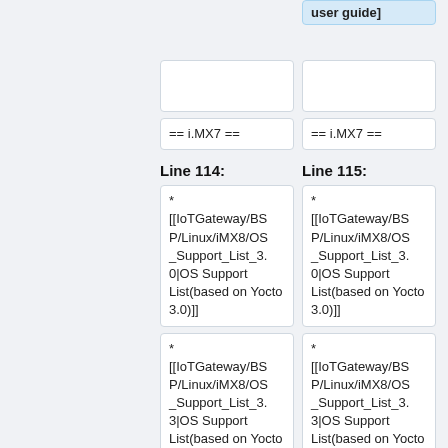user guide]
== i.MX7 ==
== i.MX7 ==
Line 114:
Line 115:
* [[IoTGateway/BSP/Linux/iMX8/OS_Support_List_3.0|OS Support List(based on Yocto 3.0)]]
* [[IoTGateway/BSP/Linux/iMX8/OS_Support_List_3.0|OS Support List(based on Yocto 3.0)]]
* [[IoTGateway/BSP/Linux/iMX8/OS_Support_List_3.3|OS Support List(based on Yocto 3.3)]]
* [[IoTGateway/BSP/Linux/iMX8/OS_Support_List_3.3|OS Support List(based on Yocto 3.3)]]
+